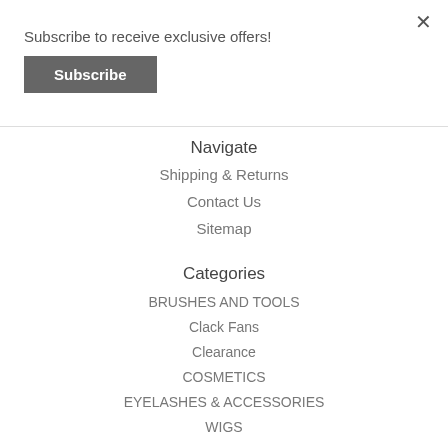Subscribe to receive exclusive offers!
Subscribe
Navigate
Shipping & Returns
Contact Us
Sitemap
Categories
BRUSHES AND TOOLS
Clack Fans
Clearance
COSMETICS
EYELASHES & ACCESSORIES
WIGS